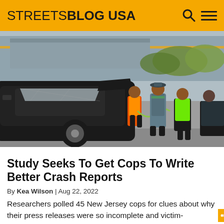STREETSBLOG USA
[Figure (photo): Crashed black SUV on the left with shattered windshield, and three people in high-visibility vests and a police officer standing on a road in the background, likely at a crash scene.]
Study Seeks To Get Cops To Write Better Crash Reports
By Kea Wilson | Aug 22, 2022
Researchers polled 45 New Jersey cops for clues about why their press releases were so incomplete and victim-